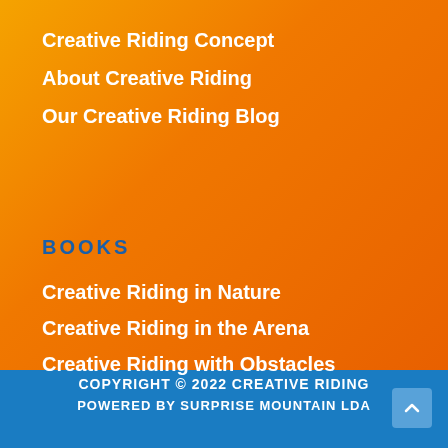Creative Riding Concept
About Creative Riding
Our Creative Riding Blog
BOOKS
Creative Riding in Nature
Creative Riding in the Arena
Creative Riding with Obstacles
[Figure (other): Social media icons: Facebook and Instagram circular blue buttons]
COPYRIGHT © 2022 CREATIVE RIDING
POWERED BY SURPRISE MOUNTAIN LDA